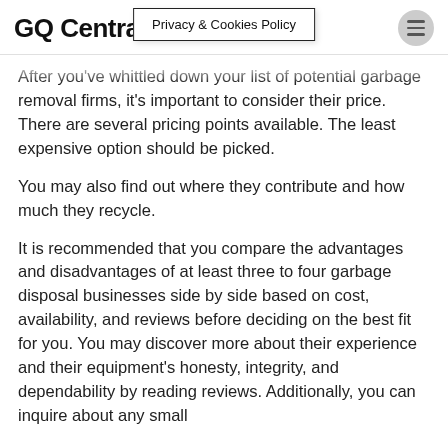GQ Central | Privacy & Cookies Policy
After you've whittled down your list of potential garbage removal firms, it's important to consider their price. There are several pricing points available. The least expensive option should be picked.
You may also find out where they contribute and how much they recycle.
It is recommended that you compare the advantages and disadvantages of at least three to four garbage disposal businesses side by side based on cost, availability, and reviews before deciding on the best fit for you. You may discover more about their experience and their equipment's honesty, integrity, and dependability by reading reviews. Additionally, you can inquire about any small